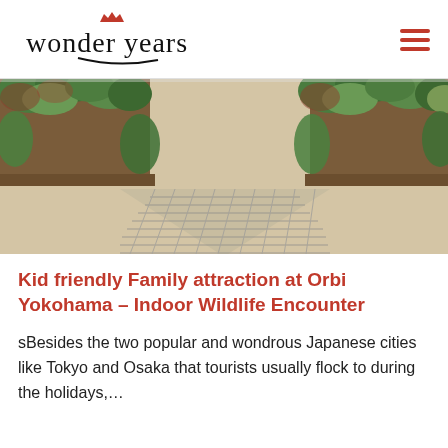wonder years
[Figure (photo): Indoor walkway with decorative patterned floor mat and large planters filled with lush green foliage on either side]
Kid friendly Family attraction at Orbi Yokohama – Indoor Wildlife Encounter
sBesides the two popular and wondrous Japanese cities like Tokyo and Osaka that tourists usually flock to during the holidays,…